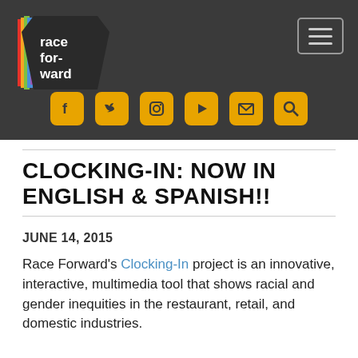[Figure (logo): Race Forward logo — stylized hexagon with colorful left edge and white text 'race forward' on dark background]
[Figure (infographic): Social media icon row: Facebook, Twitter, Instagram, YouTube, Email, Search — yellow rounded square icons on dark bar]
CLOCKING-IN: NOW IN ENGLISH & SPANISH!!
JUNE 14, 2015
Race Forward's Clocking-In project is an innovative, interactive, multimedia tool that shows racial and gender inequities in the restaurant, retail, and domestic industries.